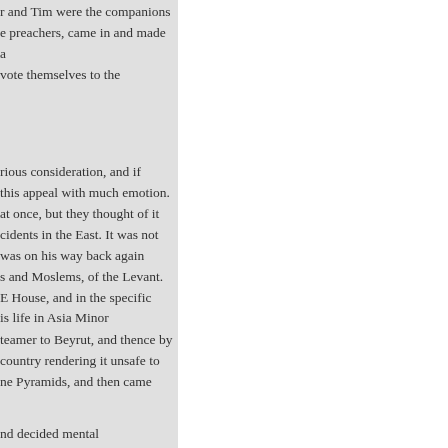r and Tim were the companions e preachers, came in and made a vote themselves to the
rious consideration, and if this appeal with much emotion. at once, but they thought of it cidents in the East. It was not was on his way back again s and Moslems, of the Levant. E House, and in the specific is life in Asia Minor
teamer to Beyrut, and thence by country rendering it unsafe to ne Pyramids, and then came
nd decided mental improvement